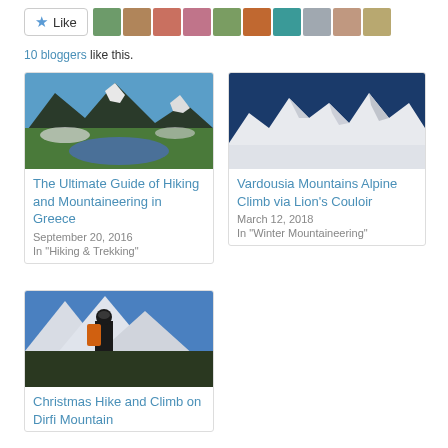Like [button with avatars] 10 bloggers like this.
[Figure (photo): Mountain lake with snow patches and green slopes]
The Ultimate Guide of Hiking and Mountaineering in Greece
September 20, 2016
In "Hiking & Trekking"
[Figure (photo): Snow-covered jagged mountain peaks against blue sky]
Vardousia Mountains Alpine Climb via Lion's Couloir
March 12, 2018
In "Winter Mountaineering"
[Figure (photo): Hiker with backpack looking at snow-covered mountain]
Christmas Hike and Climb on Dirfi Mountain